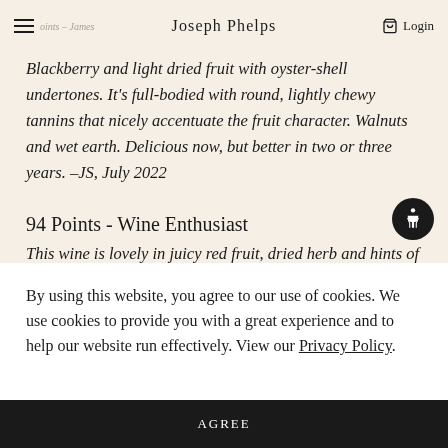Joseph Phelps | Login
Blackberry and light dried fruit with oyster-shell undertones. It's full-bodied with round, lightly chewy tannins that nicely accentuate the fruit character. Walnuts and wet earth. Delicious now, but better in two or three years. -JS, July 2022
94 Points - Wine Enthusiast
This wine is lovely in juicy red fruit, dried herb and hints of
By using this website, you agree to our use of cookies. We use cookies to provide you with a great experience and to help our website run effectively. View our Privacy Policy.
AGREE